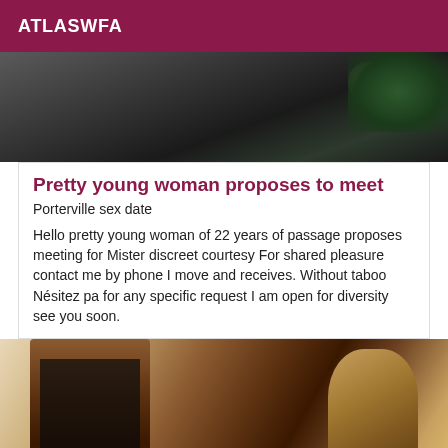ATLASWFA
[Figure (photo): Outdoor nighttime scene, dark with green foliage and a light source visible]
Pretty young woman proposes to meet
Porterville sex date
Hello pretty young woman of 22 years of passage proposes meeting for Mister discreet courtesy For shared pleasure contact me by phone I move and receives. Without taboo Nésitez pa for any specific request I am open for diversity see you soon.
[Figure (photo): Indoor photo showing wooden furniture, possibly cabinets and chairs with dark leather or fabric]